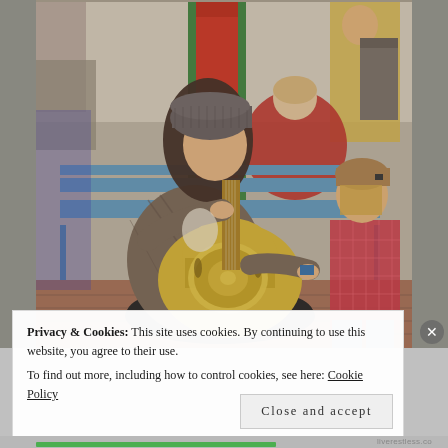[Figure (photo): Street musician with long hair and grey beanie hat playing a resonator guitar while sitting on a bench near a red post box. A young boy in a checked shirt watches from the right. Passersby visible in background including a person in a red jacket seated on a bench.]
Privacy & Cookies: This site uses cookies. By continuing to use this website, you agree to their use.
To find out more, including how to control cookies, see here: Cookie Policy
Close and accept